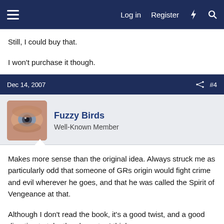Log in  Register
Still, I could buy that.

I won't purchase it though.
Dec 14, 2007  #4
Fuzzy Birds
Well-Known Member
Makes more sense than the original idea. Always struck me as particularly odd that someone of GRs origin would fight crime and evil wherever he goes, and that he was called the Spirit of Vengeance at that.

Although I don't read the book, it's a good twist, and a good direction to take the character I think.
Dec 14, 2007  #5